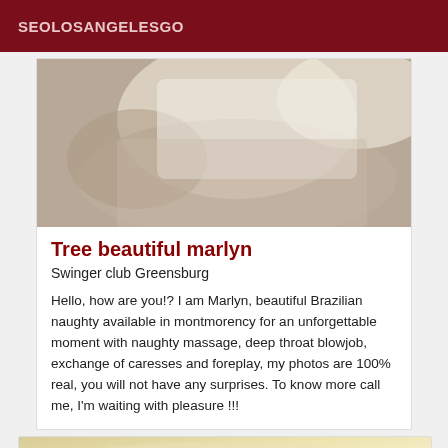SEOLOSANGELESGO
[Figure (photo): Photo of a woman in a white top, close-up, partially cropped]
Tree beautiful marlyn
Swinger club Greensburg
Hello, how are you!? I am Marlyn, beautiful Brazilian naughty available in montmorency for an unforgettable moment with naughty massage, deep throat blowjob, exchange of caresses and foreplay, my photos are 100% real, you will not have any surprises. To know more call me, I'm waiting with pleasure !!!
[Figure (photo): Partial photo visible at bottom of page, warm yellowish tones]